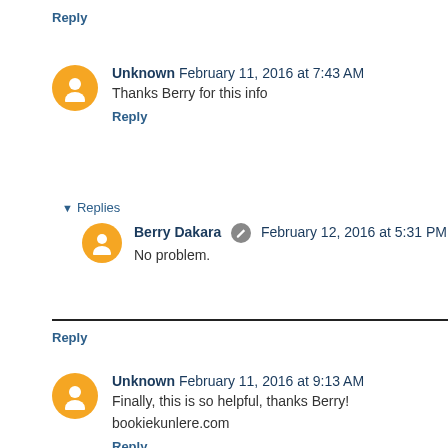Reply
Unknown  February 11, 2016 at 7:43 AM
Thanks Berry for this info
Reply
Replies
Berry Dakara  February 12, 2016 at 5:31 PM
No problem.
Reply
Unknown  February 11, 2016 at 9:13 AM
Finally, this is so helpful, thanks Berry!

bookiekunlere.com

Reply